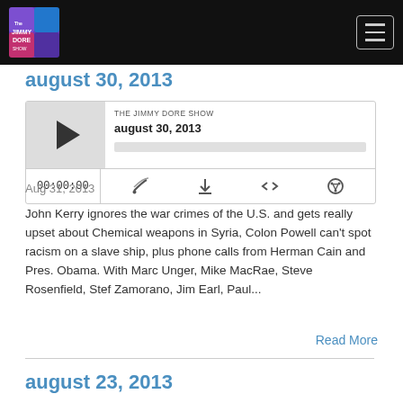[Figure (screenshot): Jimmy Dore Show logo in top navigation bar]
august 30, 2013
[Figure (screenshot): Podcast audio player widget for 'august 30, 2013' episode of The Jimmy Dore Show, showing play button, progress bar, timestamp 00:00:00, and icons for RSS, download, embed, and share]
Aug 31, 2013
John Kerry ignores the war crimes of the U.S. and gets really upset about Chemical weapons in Syria, Colon Powell can’t spot racism on a slave ship, plus phone calls from Herman Cain and Pres. Obama. With Marc Unger, Mike MacRae, Steve Rosenfield, Stef Zamorano, Jim Earl, Paul...
Read More
august 23, 2013